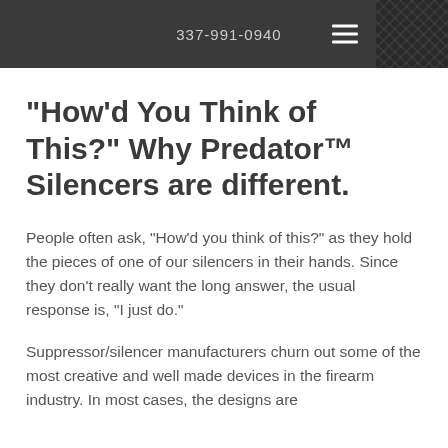337-991-0940
"How'd You Think of This?" Why Predator™ Silencers are different.
People often ask, “How’d you think of this?” as they hold the pieces of one of our silencers in their hands. Since they don’t really want the long answer, the usual response is, “I just do.”
Suppressor/silencer manufacturers churn out some of the most creative and well made devices in the firearm industry. In most cases, the designs are